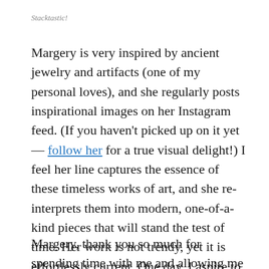Stacktastic!
Margery is very inspired by ancient jewelry and artifacts (one of my personal loves), and she regularly posts inspirational images on her Instagram feed. (If you haven't picked up on it yet — follow her for a true visual delight!) I feel her line captures the essence of these timeless works of art, and she re-interprets them into modern, one-of-a-kind pieces that will stand the test of time. Her work is not trendy, yet it is effortlessly current. One day, I aspire to have her jewelry in my own jewelry box.
Margery, thank you so much for spending time with me and allowing me to play with your